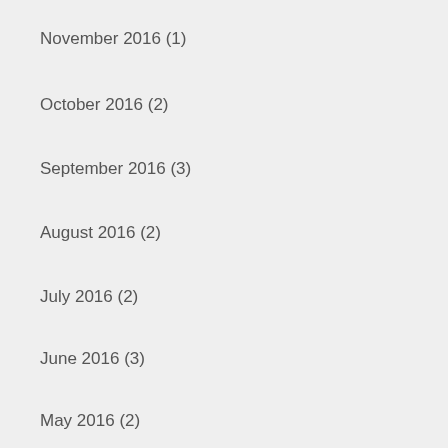November 2016 (1)
October 2016 (2)
September 2016 (3)
August 2016 (2)
July 2016 (2)
June 2016 (3)
May 2016 (2)
March 2016 (1)
February 2016 (1)
January 2016 (2)
December 2015 (1)
November 2015 (1)
October 2015 (1)
September 2015 (2)